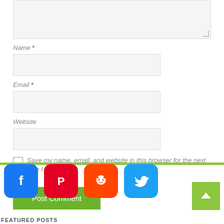[Figure (screenshot): Comment form with textarea (partially visible at top), Name field with asterisk, Email field with asterisk, Website field, a checkbox for saving name/email/website, and a green Post Comment button]
Name *
Email *
Website
Save my name, email, and website in this browser for the next time I comment.
Post Comment
[Figure (other): Social media icon buttons: Facebook (blue), Pinterest (red), Reddit (orange-red), Twitter (blue), and a green scroll-to-top arrow button]